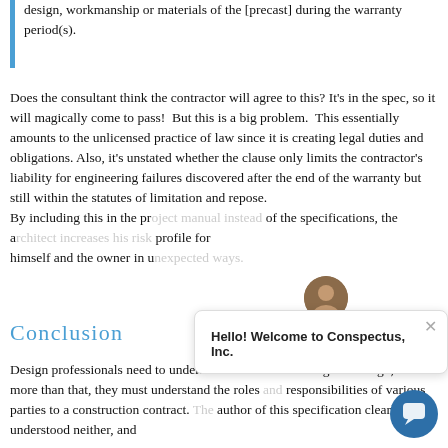design, workmanship or materials of the [precast] during the warranty period(s).
Does the consultant think the contractor will agree to this? It's in the spec, so it will magically come to pass!  But this is a big problem.  This essentially amounts to the unlicensed practice of law since it is creating legal duties and obligations. Also, it's unstated whether the clause only limits the contractor's liability for engineering failures discovered after the end of the warranty but still within the statutes of limitation and repose.
By including this in the project manual instead of the specifications, the architect increases his risk profile for himself and the owner in unexpected ways.
Conclusion
Design professionals need to understand the limits of delegated design, but more than that, they must understand the roles and responsibilities of various parties to a construction contract. The author of this specification clearly understood neither, and